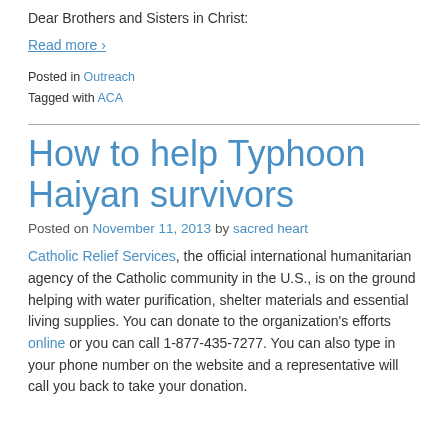Dear Brothers and Sisters in Christ:
Read more ›
Posted in Outreach
Tagged with ACA
How to help Typhoon Haiyan survivors
Posted on November 11, 2013 by sacred heart
Catholic Relief Services, the official international humanitarian agency of the Catholic community in the U.S., is on the ground helping with water purification, shelter materials and essential living supplies. You can donate to the organization's efforts online or you can call 1-877-435-7277. You can also type in your phone number on the website and a representative will call you back to take your donation.